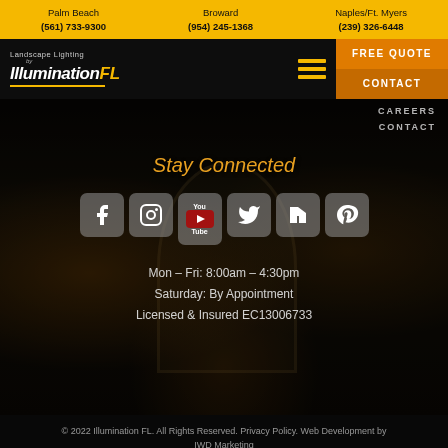Palm Beach (561) 733-9300 | Broward (954) 245-1368 | Naples/Ft. Myers (239) 326-6448
[Figure (logo): Landscape Lighting by Illumination FL logo with yellow text on black background]
CAREERS
CONTACT
Stay Connected
[Figure (infographic): Social media icons: Facebook, Instagram, YouTube, Twitter, Houzz, Pinterest]
Mon – Fri: 8:00am – 4:30pm
Saturday: By Appointment
Licensed & Insured EC13006733
© 2022 Illumination FL. All Rights Reserved. Privacy Policy. Web Development by IWD Marketing